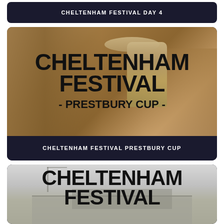[Figure (other): Dark navy card with white bold text reading CHELTENHAM FESTIVAL DAY 4]
CHELTENHAM FESTIVAL DAY 4
[Figure (photo): Card showing Cheltenham Festival Prestbury Cup with large bold text overlay on a warm brown/tan background photo of hands holding a trophy. Text reads CHELTENHAM FESTIVAL - PRESTBURY CUP -]
CHELTENHAM FESTIVAL PRESTBURY CUP
[Figure (photo): Partial card showing Cheltenham racecourse grandstand in grey tones with large bold black text overlay reading CHELTENHAM FESTIVAL (cut off at bottom)]